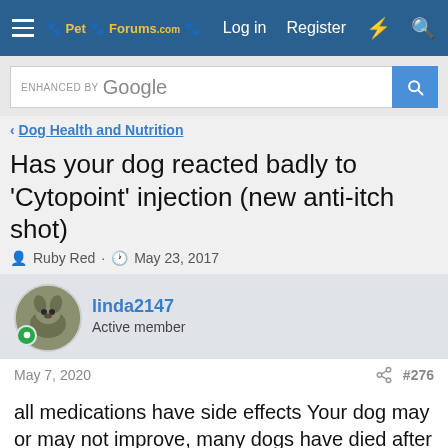Pet Forums — Log in  Register
ENHANCED BY Google
< Dog Health and Nutrition
Has your dog reacted badly to 'Cytopoint' injection (new anti-itch shot)
Ruby Red · May 23, 2017
linda2147
Active member
May 7, 2020  #276
all medications have side effects Your dog may or may not improve, many dogs have died after having this killer shot. I hope it works out well for y you Ask your vet for some pronotolin, or get it online, that will